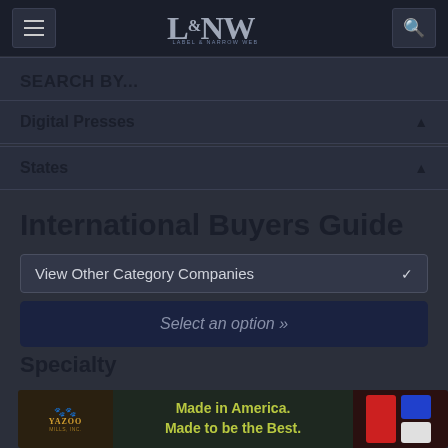L&NW — Label & Narrow Web
SEARCH BY...
Digital Presses
States
International Buyers Guide
View Other Category Companies
Select an option »
Specialty
[Figure (photo): Yazoo Mills Inc. advertisement banner: Made in America. Made to be the Best. 120 years of success.]